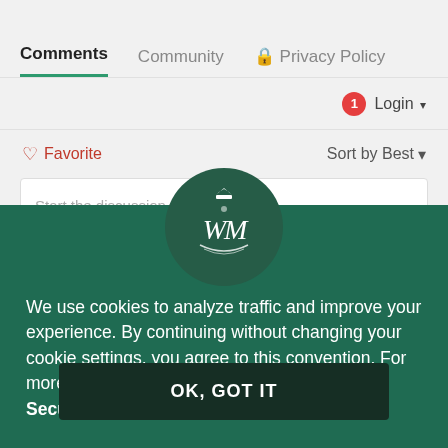Comments  Community  🔒 Privacy Policy
1  Login ▾
🤍 Favorite    Sort by Best ▾
Start the discussion…
LOG IN WITH
[Figure (logo): William & Mary royal cypher monogram logo in white on dark green circle]
We use cookies to analyze traffic and improve your experience. By continuing without changing your cookie settings, you agree to this convention. For more information, please see our Privacy & Security Statement.
OK, GOT IT